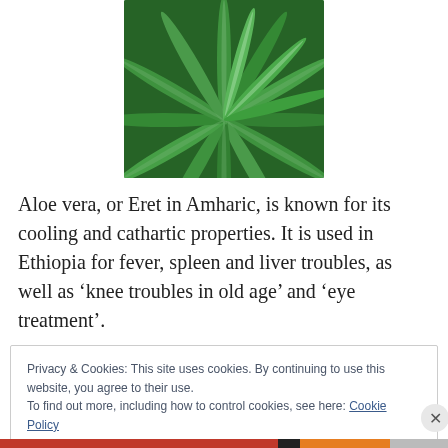[Figure (photo): Overhead view of an aloe vera plant showing spiraling green succulent leaves with serrated edges]
Aloe vera, or Eret in Amharic, is known for its cooling and cathartic properties. It is used in Ethiopia for fever, spleen and liver troubles, as well as ‘knee troubles in old age’ and ‘eye treatment’.
Privacy & Cookies: This site uses cookies. By continuing to use this website, you agree to their use.
To find out more, including how to control cookies, see here: Cookie Policy